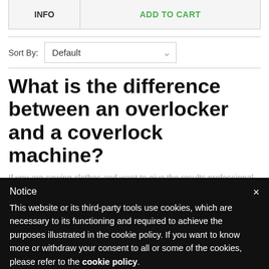| INFO | ADD TO CART |
| --- | --- |
Sort By: Default
What is the difference between an overlocker and a coverlock machine?
If you are sewing clothes and want to give the results professional... and a ...overlocker for the perfect finishing and to ...never be as beautiful and professional as you would like it to be. The...
Notice
This website or its third-party tools use cookies, which are necessary to its functioning and required to achieve the purposes illustrated in the cookie policy. If you want to know more or withdraw your consent to all or some of the cookies, please refer to the cookie policy.
By closing this banner, scrolling this page, clicking a link or continuing to browse otherwise, you agree to the use of cookies.